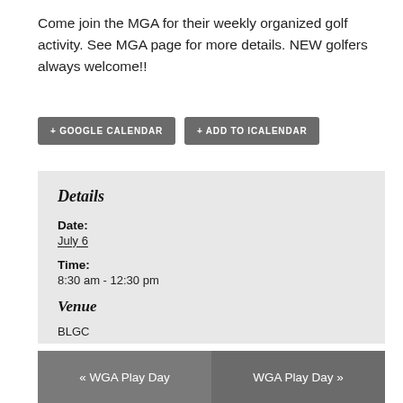Come join the MGA for their weekly organized golf activity. See MGA page for more details. NEW golfers always welcome!!
+ GOOGLE CALENDAR
+ ADD TO ICALENDAR
Details
Date:
July 6
Time:
8:30 am - 12:30 pm
Venue
BLGC
« WGA Play Day
WGA Play Day »